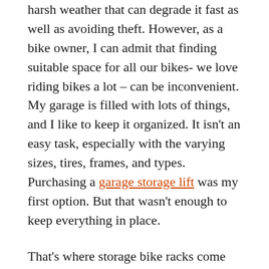harsh weather that can degrade it fast as well as avoiding theft. However, as a bike owner, I can admit that finding suitable space for all our bikes- we love riding bikes a lot – can be inconvenient. My garage is filled with lots of things, and I like to keep it organized. It isn't an easy task, especially with the varying sizes, tires, frames, and types. Purchasing a garage storage lift was my first option. But that wasn't enough to keep everything in place.
That's where storage bike racks come in; they help in safe and convenient storage of bikes. Garage bike racks are stationary and are used mainly for storing, securing, or displaying bikes. Are you looking for a bike